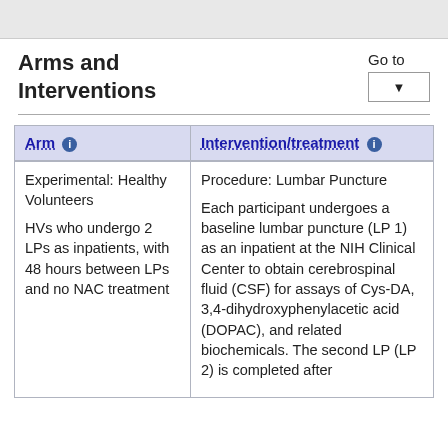Arms and Interventions
| Arm | Intervention/treatment |
| --- | --- |
| Experimental: Healthy Volunteers
HVs who undergo 2 LPs as inpatients, with 48 hours between LPs and no NAC treatment | Procedure: Lumbar Puncture
Each participant undergoes a baseline lumbar puncture (LP 1) as an inpatient at the NIH Clinical Center to obtain cerebrospinal fluid (CSF) for assays of Cys-DA, 3,4-dihydroxyphenylacetic acid (DOPAC), and related biochemicals. The second LP (LP 2) is completed after |